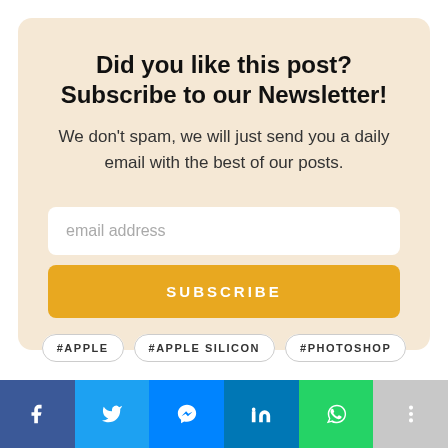Did you like this post? Subscribe to our Newsletter!
We don't spam, we will just send you a daily email with the best of our posts.
email address
SUBSCRIBE
#APPLE
#APPLE SILICON
#PHOTOSHOP